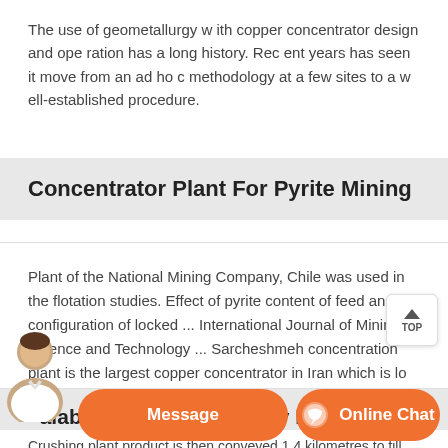The use of geometallurgy w ith copper concentrator design and ope ration has a long history. Rec ent years has seen it move from an ad ho c methodology at a few sites to a w ell-established procedure.
Concentrator Plant For Pyrite Mining
Plant of the National Mining Company, Chile was used in the flotation studies. Effect of pyrite content of feed and configuration of locked ... International Journal of Mining Science and Technology ... Sarcheshmeh concentration plant is the largest copper concentrator in Iran which is lo ed in... Telfer Processing Plant Upgrade The ...
alabora Mining Company Ltd
Crushing plant product is then conveyed 1.4 kilometres to fill